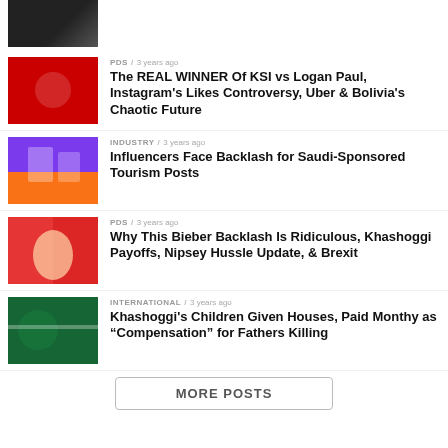[Figure (photo): Dark thumbnail image at top, partially cropped]
[Figure (photo): Photo of Philip DeFranco with surprised expression, YouTube/social media themed background]
PDS / 3 years ago
The REAL WINNER Of KSI vs Logan Paul, Instagram's Likes Controversy, Uber & Bolivia's Chaotic Future
[Figure (photo): Social media influencer posts collage with purple and orange background]
INDUSTRY / 3 years ago
Influencers Face Backlash for Saudi-Sponsored Tourism Posts
[Figure (photo): Philip DeFranco in pink shirt with shocked expression]
PDS / 3 years ago
Why This Bieber Backlash Is Ridiculous, Khashoggi Payoffs, Nipsey Hussle Update, & Brexit
[Figure (photo): Saudi Arabia flag with man's face overlay]
INTERNATIONAL / 3 years ago
Khashoggi's Children Given Houses, Paid Monthy as "Compensation" for Fathers Killing
MORE POSTS